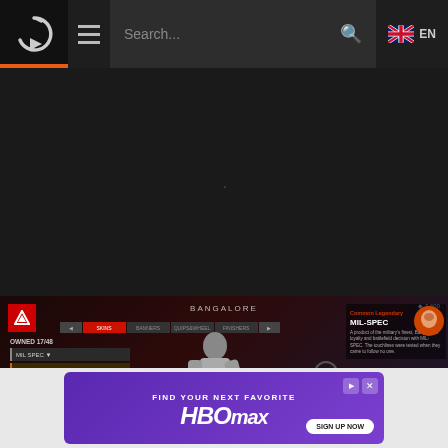[Figure (screenshot): Website navigation bar with logo (circular arrow/play icon with orange underline), hamburger menu, search bar, and EN language selector with UK flag]
[Figure (screenshot): Dark background area of a gaming website]
[Figure (screenshot): Apex Legends game screenshot showing Bangalore character skin selection screen, with 'OWNED 17/48', MIL-SPEC skin selected, character model, and MIL-SPEC detail panel on right]
[Figure (screenshot): HBO Max advertisement banner with purple background, 'FIND YOUR NEXT FAVORITE' text, HBO max logo in white italic, and 'SIGN UP NOW' button]